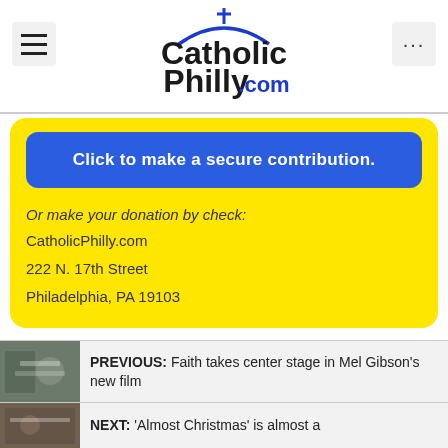CatholicPhilly.com
[Figure (logo): CatholicPhilly.com logo with a cross and arch above the text, '.com' in blue]
Click to make a secure contribution.
Or make your donation by check:
CatholicPhilly.com
222 N. 17th Street
Philadelphia, PA 19103
PREVIOUS: Faith takes center stage in Mel Gibson's new film
NEXT: 'Almost Christmas' is almost a